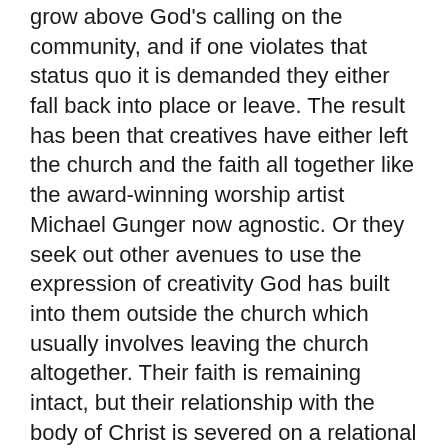grow above God's calling on the community, and if one violates that status quo it is demanded they either fall back into place or leave. The result has been that creatives have either left the church and the faith all together like the award-winning worship artist Michael Gunger now agnostic. Or they seek out other avenues to use the expression of creativity God has built into them outside the church which usually involves leaving the church altogether. Their faith is remaining intact, but their relationship with the body of Christ is severed on a relational level because they have been told they do not belong there.
I know Andrew Peterson necessarily has no qualms with the praise craze of the 2000's but CCM lost something when it happened and continues to lack something because it is gone. For instance, I am listening to Caedmon's Call right now, at one point they, Andrew Peterson, Rich Mullins, Jars of Clay and others were the standard bearers of Christian